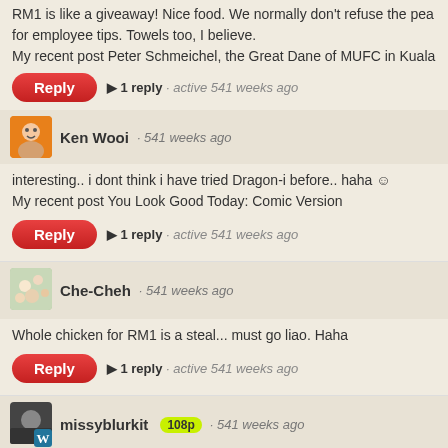RM1 is like a giveaway! Nice food. We normally don't refuse the pea for employee tips. Towels too, I believe.
My recent post Peter Schmeichel, the Great Dane of MUFC in Kuala
▶ 1 reply · active 541 weeks ago
Ken Wooi · 541 weeks ago
interesting.. i dont think i have tried Dragon-i before.. haha ☺
My recent post You Look Good Today: Comic Version
▶ 1 reply · active 541 weeks ago
Che-Cheh · 541 weeks ago
Whole chicken for RM1 is a steal... must go liao. Haha
▶ 1 reply · active 541 weeks ago
missyblurkit 108p · 541 weeks ago
RM1? that is cheap...will probably check them out over the week.
My recent post Glenmorangie Orange Retro Funk Party @ The Pool
▶ 1 reply · active 540 weeks ago